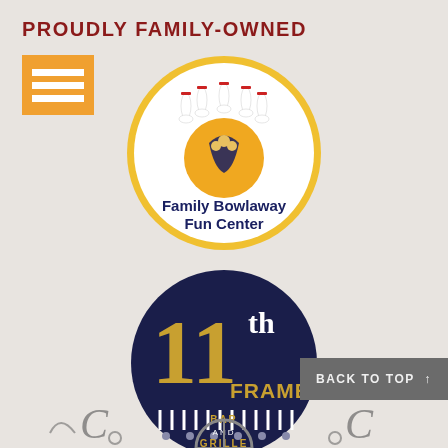PROUDLY FAMILY-OWNED
[Figure (logo): Orange square menu/hamburger icon with three horizontal white lines]
[Figure (logo): Family Bowlaway Fun Center circular logo with gold border, bowling pins and bowling ball with family figure, text reads Family Bowlaway Fun Center]
[Figure (logo): 11th Frame Bar and Grille dark navy circular logo with gold and white text and bowling pin imagery]
[Figure (logo): Partial decorative logos visible at bottom of page]
BACK TO TOP ↑